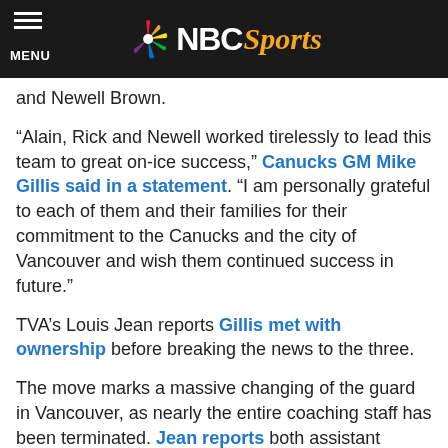NBC Sports
and Newell Brown.
“Alain, Rick and Newell worked tirelessly to lead this team to great on-ice success,” Canucks GM Mike Gillis said in a statement. “I am personally grateful to each of them and their families for their commitment to the Canucks and the city of Vancouver and wish them continued success in future.”
TVA’s Louis Jean reports Gillis met with ownership before breaking the news to the three.
The move marks a massive changing of the guard in Vancouver, as nearly the entire coaching staff has been terminated. Jean reports both assistant coach (video) Daryl Williams and goaltending coach Roland Melanson “are safe for now,” and that it will be up to the new coaching staff to decide if they’re retained.